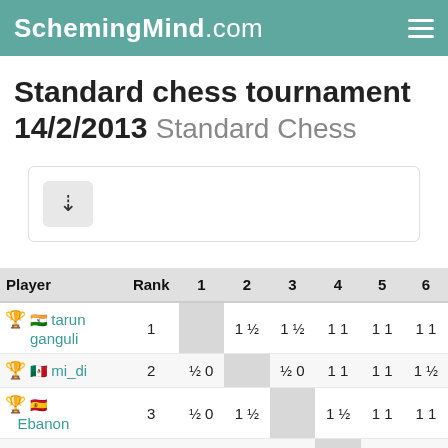SchemingMind.com
Standard chess tournament 14/2/2013 Standard Chess
[Figure (other): Download button icon]
| Player | Rank | 1 | 2 | 3 | 4 | 5 | 6 |
| --- | --- | --- | --- | --- | --- | --- | --- |
| 🏆 🇮🇳 tarun ganguli | 1 |  | 1 ½ | 1 ½ | 1 1 | 1 1 | 1 1 |
| 🏆 🇲🇽 mi_di | 2 | ½ 0 |  | ½ 0 | 1 1 | 1 1 | 1 ½ |
| 🏆 🇪🇸 Ebanon | 3 | ½ 0 | 1 ½ |  | 1 ½ | 1 1 | 1 1 |
| — 🇵🇱 Adrian | 4 | 0 0 | 0 0 | ½ 0 |  | 1 ½ | ½ ½ |